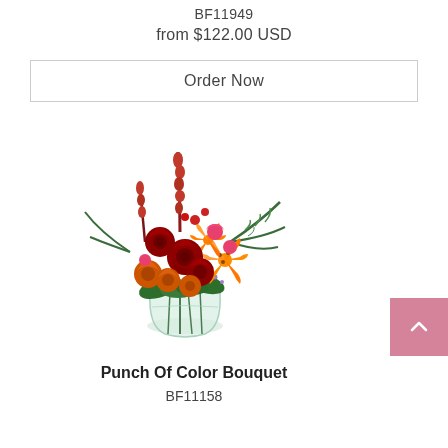BF11949
from $122.00 USD
Order Now
[Figure (photo): Floral bouquet arrangement with deep red and orange roses, orange lilies, red snapdragons, pink carnations, ferns, and purple waxflower in a clear glass vase]
Punch Of Color Bouquet
BF11158